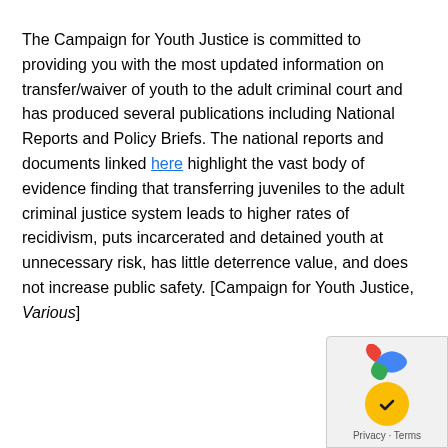The Campaign for Youth Justice is committed to providing you with the most updated information on transfer/waiver of youth to the adult criminal court and has produced several publications including National Reports and Policy Briefs. The national reports and documents linked here highlight the vast body of evidence finding that transferring juveniles to the adult criminal justice system leads to higher rates of recidivism, puts incarcerated and detained youth at unnecessary risk, has little deterrence value, and does not increase public safety. [Campaign for Youth Justice, Various]